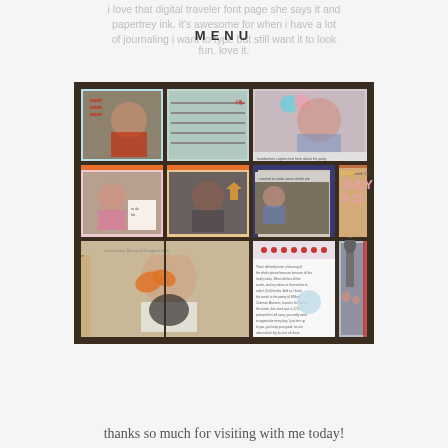i love that digital traveler font page she says it and papertrey ink. it's awesome for when i have a lot of journaling i want to type but still want it to look fun. love it.
MENU
[Figure (photo): A scrapbook layout photo showing a 3x3 grid of pocket pages with photos and journaling cards. Week 28, July 9-15 theme with photos of people, a dog, and outdoor scenes.]
thanks so much for visiting with me today!